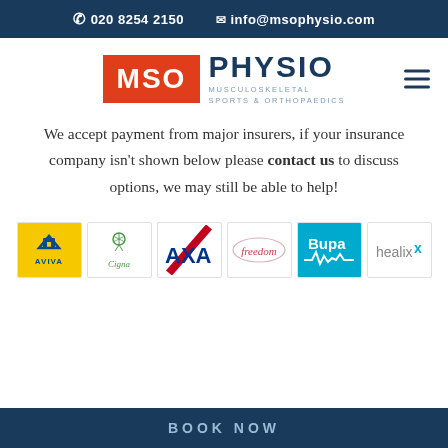📞 020 8254 2150   ✉ info@msophysio.com
[Figure (logo): MSO Physio logo — red box with white MSO text, next to dark blue PHYSIO text, subtitle MUSCULOSKELETAL SPORTS & ORTHOPAEDICS]
We accept payment from major insurers, if your insurance company isn't shown below please contact us to discuss options, we may still be able to help!
[Figure (other): Row of insurance company logos: Aviva (yellow background, blue house icon), Cigna (green tree icon), AXA (white background, red diagonal stripe), freedom (pink/red script text), Bupa (teal background, white heartbeat line), healix (grey text with blue x)]
BOOK NOW